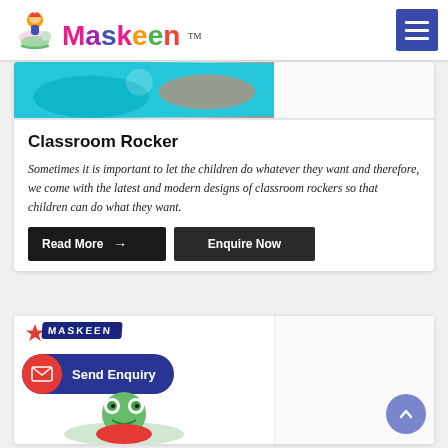Maskeen TM — navigation menu
[Figure (photo): Partial product image of a colorful toy, teal/orange colors, top of card]
Classroom Rocker
Sometimes it is important to let the children do whatever they want and therefore, we come with the latest and modern designs of classroom rockers so that children can do what they want.
Read More → Enquire Now
[Figure (photo): Product card with Maskeen brand badge, Send Enquiry button, and colorful toy frog rocker at bottom]